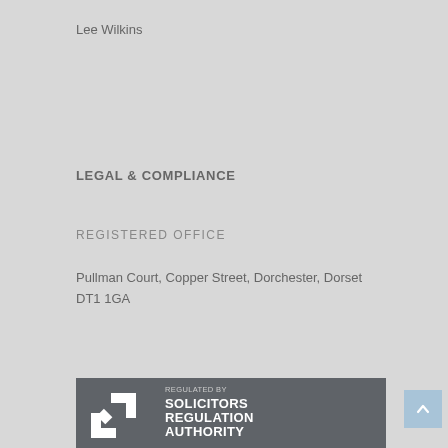Lee Wilkins
LEGAL & COMPLIANCE
REGISTERED OFFICE
Pullman Court, Copper Street, Dorchester, Dorset DT1 1GA
[Figure (logo): Solicitors Regulation Authority logo — grey box with white arrows and text reading REGULATED BY SOLICITORS REGULATION AUTHORITY]